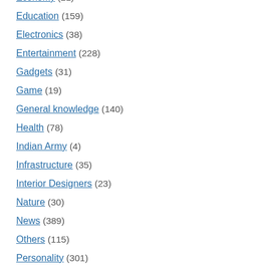Economy (21)
Education (159)
Electronics (38)
Entertainment (228)
Gadgets (31)
Game (19)
General knowledge (140)
Health (78)
Indian Army (4)
Infrastructure (35)
Interior Designers (23)
Nature (30)
News (389)
Others (115)
Personality (301)